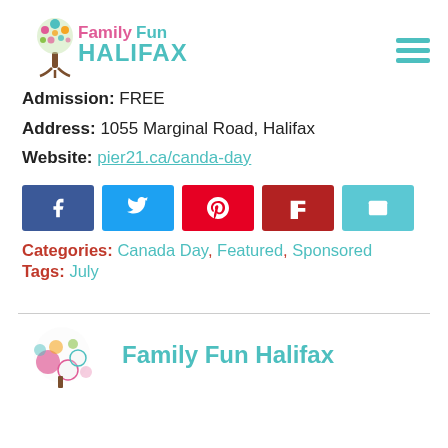[Figure (logo): Family Fun Halifax logo with colorful tree and text]
Admission: FREE
Address: 1055 Marginal Road, Halifax
Website: pier21.ca/canda-day
[Figure (infographic): Social share buttons: Facebook, Twitter, Pinterest, Flipboard, Email]
Categories: Canada Day, Featured, Sponsored
Tags: July
[Figure (logo): Family Fun Halifax logo (partial, bottom of page) with text 'Family Fun Halifax']